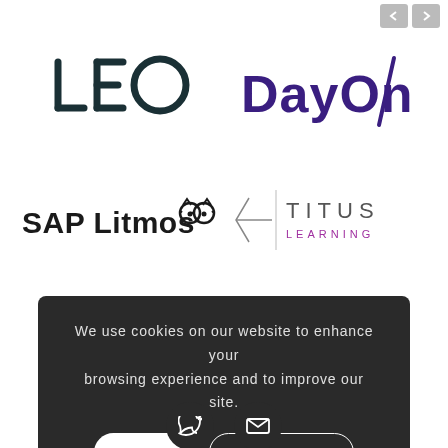[Figure (logo): LEO logo in dark teal/navy with stylized letters L, E, O]
[Figure (logo): DayOne logo in dark purple with slash mark]
[Figure (logo): SAP Litmos logo with owl/glasses mascot icon]
[Figure (logo): Titus Learning logo with arrow and purple LEARNING text]
We use cookies on our website to enhance your browsing experience and to improve our site.